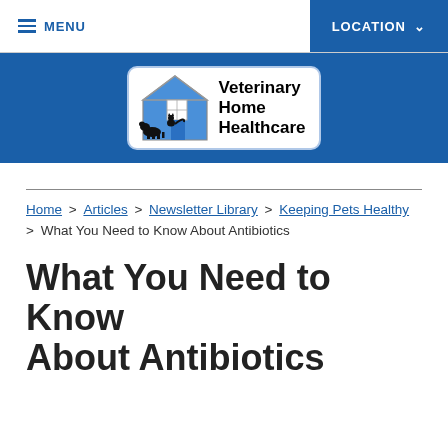MENU | LOCATION
[Figure (logo): Veterinary Home Healthcare logo: house icon in blue with a dog and cat silhouette, text reading 'Veterinary Home Healthcare']
Home > Articles > Newsletter Library > Keeping Pets Healthy > What You Need to Know About Antibiotics
What You Need to Know About Antibiotics